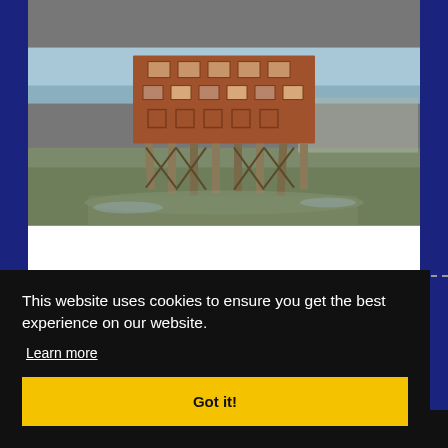[Figure (photo): Photograph of an abandoned industrial building or structure on stilts/pilings at low tide near a waterway, with rusted/dilapidated brick upper structure and wooden/metal support legs visible, sea or estuary in the background.]
No 1 Thames (c) 2014 Michael Gakuran and WT Architecture
This website uses cookies to ensure you get the best experience on our website.
Learn more
Got it!
er
We Are Seeking Advice From Our Bulletin Reading